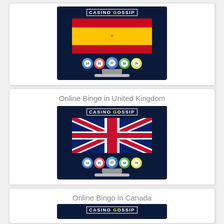[Figure (illustration): Casino Gossip branded monitor showing Spanish flag with bingo balls]
Online Bingo in United Kingdom
[Figure (illustration): Casino Gossip branded monitor showing UK flag with bingo balls]
Online Bingo in Canada